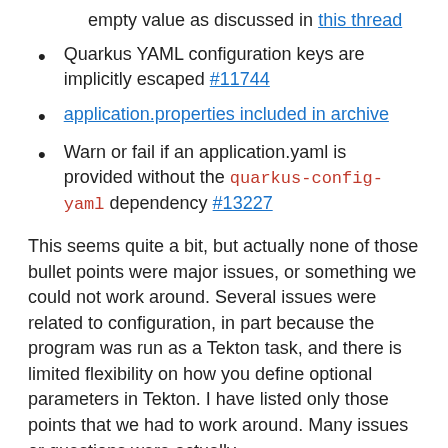empty value as discussed in this thread
Quarkus YAML configuration keys are implicitly escaped #11744
application.properties included in archive
Warn or fail if an application.yaml is provided without the quarkus-config-yaml dependency #13227
This seems quite a bit, but actually none of those bullet points were major issues, or something we could not work around. Several issues were related to configuration, in part because the program was run as a Tekton task, and there is limited flexibility on how you define optional parameters in Tekton. I have listed only those points that we had to work around. Many issues or questions were actually